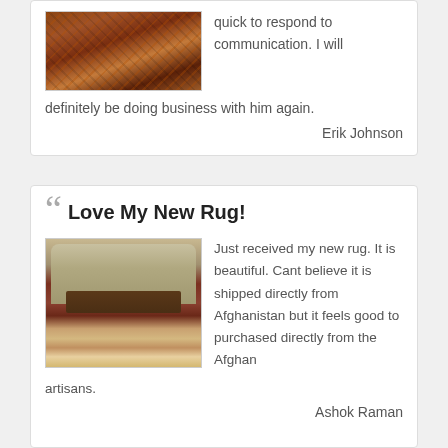[Figure (photo): Photo of a decorative oriental rug with red and brown tones]
quick to respond to communication. I will definitely be doing business with him again.
Erik Johnson
Love My New Rug!
[Figure (photo): Photo of a living room with a red Afghan rug under a wooden coffee table and sofa]
Just received my new rug. It is beautiful. Cant believe it is shipped directly from Afghanistan but it feels good to purchased directly from the Afghan artisans.
Ashok Raman